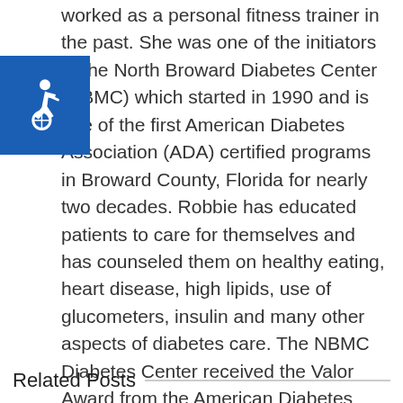worked as a personal fitness trainer in the past. She was one of the initiators of the North Broward Diabetes Center (NBMC) which started in 1990 and is one of the first American Diabetes Association (ADA) certified programs in Broward County, Florida for nearly two decades. Robbie has educated patients to care for themselves and has counseled them on healthy eating, heart disease, high lipids, use of glucometers, insulin and many other aspects of diabetes care. The NBMC Diabetes Center received the Valor Award from the American Diabetes Center for excellent care to their patients. Robbie has volunteered over the years as leader of many diabetes support groups.
[Figure (illustration): Accessibility icon - white wheelchair symbol on blue square background]
Related Posts